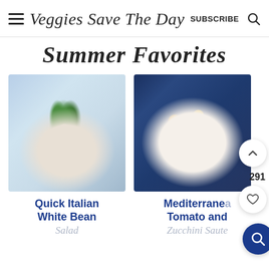Veggies Save The Day | SUBSCRIBE
Summer Favorites
[Figure (photo): Bowl of white bean salad with cherry tomatoes and fresh basil leaves on a blue and white striped cloth background]
[Figure (photo): Bowl of Mediterranean tomato and zucchini sauté with colorful vegetables on a dark blue background]
Quick Italian White Bean Salad
Mediterranean Tomato and Zucchini Saute
291